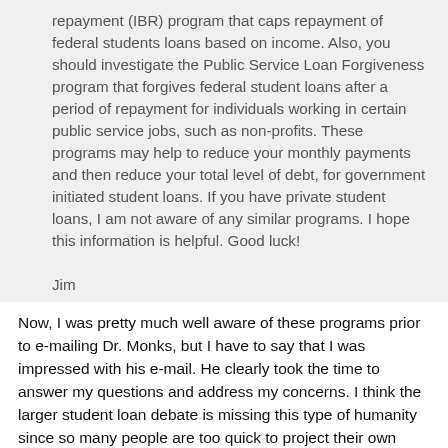repayment (IBR) program that caps repayment of federal students loans based on income. Also, you should investigate the Public Service Loan Forgiveness program that forgives federal student loans after a period of repayment for individuals working in certain public service jobs, such as non-profits. These programs may help to reduce your monthly payments and then reduce your total level of debt, for government initiated student loans. If you have private student loans, I am not aware of any similar programs. I hope this information is helpful. Good luck!

Jim
Now, I was pretty much well aware of these programs prior to e-mailing Dr. Monks, but I have to say that I was impressed with his e-mail. He clearly took the time to answer my questions and address my concerns. I think the larger student loan debate is missing this type of humanity since so many people are too quick to project their own experiences onto the lives of others.